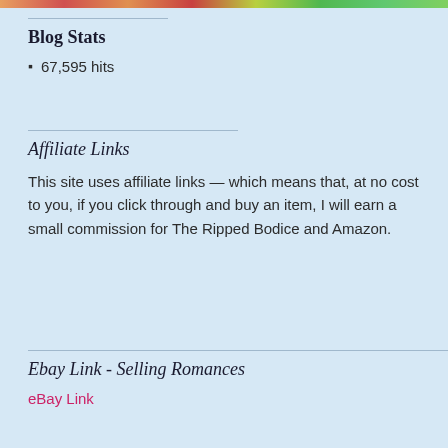[Figure (photo): Colorful image strip at the top of the page]
Blog Stats
67,595 hits
Affiliate Links
This site uses affiliate links — which means that, at no cost to you, if you click through and buy an item, I will earn a small commission for The Ripped Bodice and Amazon.
Ebay Link - Selling Romances
eBay Link